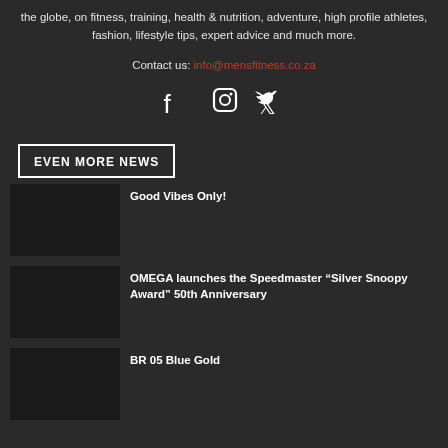the globe, on fitness, training, health & nutrition, adventure, high profile athletes, fashion, lifestyle tips, expert advice and much more.
Contact us: info@mensfitness.co.za
[Figure (other): Social media icons: Facebook, Instagram, Twitter]
EVEN MORE NEWS
Good Vibes Only!
OMEGA launches the Speedmaster “Silver Snoopy Award” 50th Anniversary
BR 05 Blue Gold